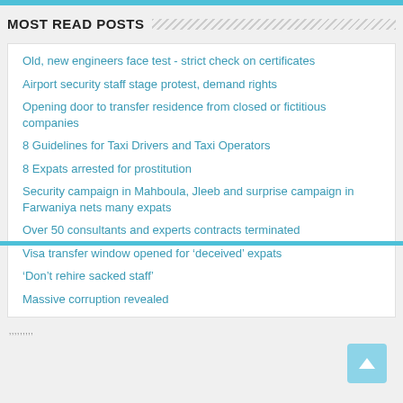MOST READ POSTS
Old, new engineers face test - strict check on certificates
Airport security staff stage protest, demand rights
Opening door to transfer residence from closed or fictitious companies
8 Guidelines for Taxi Drivers and Taxi Operators
8 Expats arrested for prostitution
Security campaign in Mahboula, Jleeb and surprise campaign in Farwaniya nets many expats
Over 50 consultants and experts contracts terminated
Visa transfer window opened for ‘deceived’ expats
‘Don’t rehire sacked staff’
Massive corruption revealed
’’’’’’’’’